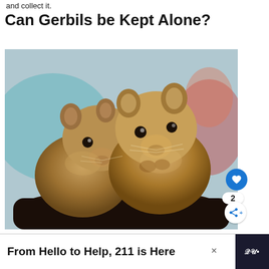and collect it.
Can Gerbils be Kept Alone?
[Figure (photo): Two brown gerbils sitting close together on a dark curved surface, facing the camera. Blurred colorful background behind them.]
From Hello to Help, 211 is Here